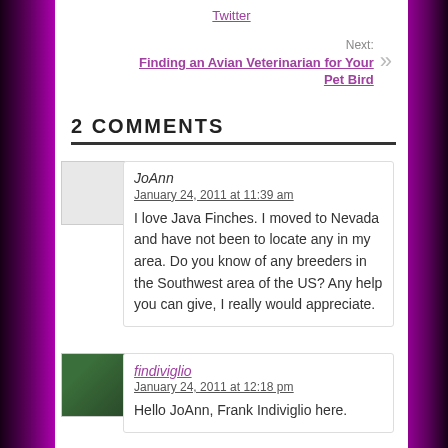Twitter
Next: Finding an Avian Veterinarian for Your Pet Bird
2 COMMENTS
JoAnn
January 24, 2011 at 11:39 am
I love Java Finches. I moved to Nevada and have not been to locate any in my area. Do you know of any breeders in the Southwest area of the US? Any help you can give, I really would appreciate.
findiviglio
January 24, 2011 at 12:18 pm
Hello JoAnn, Frank Indiviglio here.